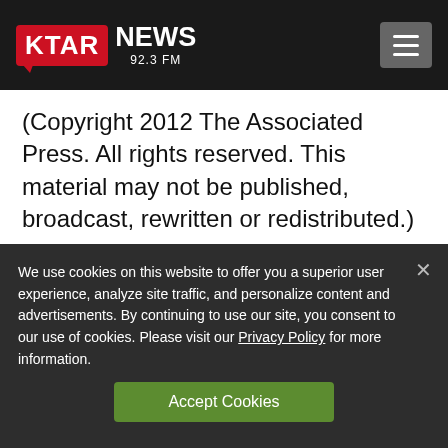KTAR NEWS 92.3 FM
(Copyright 2012 The Associated Press. All rights reserved. This material may not be published, broadcast, rewritten or redistributed.)
We use cookies on this website to offer you a superior user experience, analyze site traffic, and personalize content and advertisements. By continuing to use our site, you consent to our use of cookies. Please visit our Privacy Policy for more information.